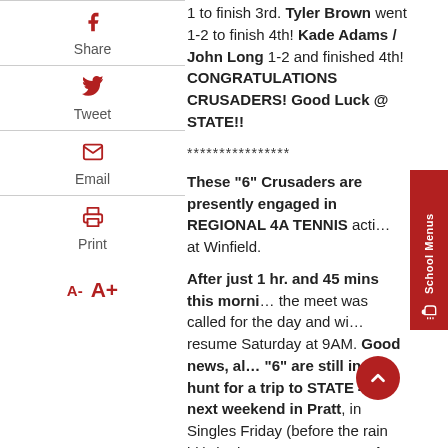1 to finish 3rd. Tyler Brown went 1-2 to finish 4th! Kade Adams / John Long 1-2 and finished 4th! CONGRATULATIONS CRUSADERS! Good Luck @ STATE!!
****************
These "6" Crusaders are presently engaged in REGIONAL 4A TENNIS action at Winfield.
After just 1 hr. and 45 mins this morning, the meet was called for the day and will resume Saturday at 9AM. Good news, all "6" are still in the hunt for a trip to STATE 4A next weekend in Pratt, in Singles Friday (before the rain hit), both Hunter Bryant and Tyler Brown were victorious...one more win tomorrow and it's hello PRATT! John Long and Kade